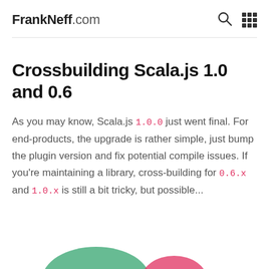FrankNeff.com
Crossbuilding Scala.js 1.0 and 0.6
As you may know, Scala.js 1.0.0 just went final. For end-products, the upgrade is rather simple, just bump the plugin version and fix potential compile issues. If you're maintaining a library, cross-building for 0.6.x and 1.0.x is still a bit tricky, but possible...
[Figure (illustration): Partial view of decorative graphic at bottom of page, showing green and pink/red curved shapes]